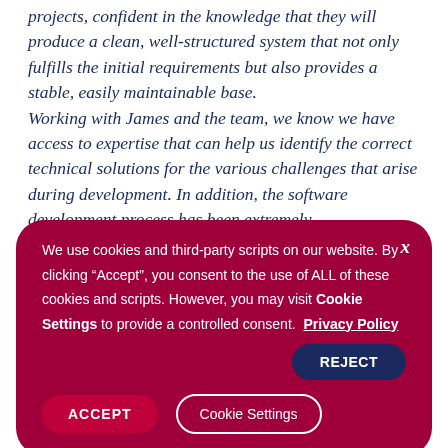projects, confident in the knowledge that they will produce a clean, well-structured system that not only fulfills the initial requirements but also provides a stable, easily maintainable base. Working with James and the team, we know we have access to expertise that can help us identify the correct technical solutions for the various challenges that arise during development. In addition, the software development process has been extremely straightforward, with their procedures
We use cookies and third-party scripts on our website. By clicking “Accept”, you consent to the use of ALL of these cookies and scripts. However, you may visit Cookie Settings to provide a controlled consent. Privacy Policy [REJECT] [ACCEPT] [Cookie Settings]